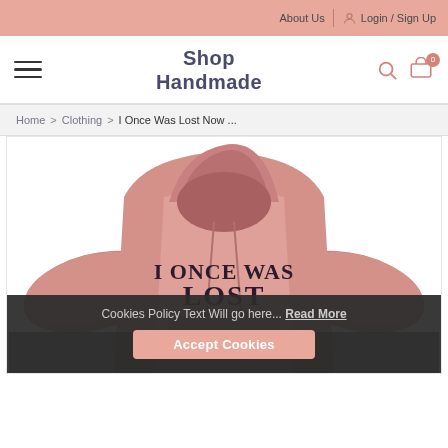About Us  Login / Sign Up
Shop Handmade
Home > Clothing > I Once Was Lost Now ...
[Figure (photo): Pink hoodie with text 'I ONCE WAS LOST NOW W FOUND' printed on the front]
Cookies Policy Text Will go here... Read More
Accept Cookies